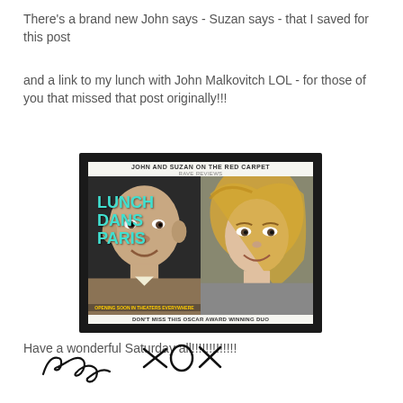There's a brand new John says - Suzan says - that I saved for this post
and a link to my lunch with John Malkovitch LOL - for those of you that missed that post originally!!!
[Figure (photo): A movie poster parody image showing John Malkovich and a woman (Suzan) side by side, framed in dark border. Text on poster reads: 'JOHN AND SUZAN ON THE RED CARPET', 'RAVE REVIEWS', 'LUNCH DANS PARIS', 'OPENING SOON IN THEATERS EVERYWHERE', 'DON'T MISS THIS OSCAR AWARD WINNING DUO']
Have a wonderful Saturday all!!!!!!!!!!!!
Suzan XOX (handwritten signature)